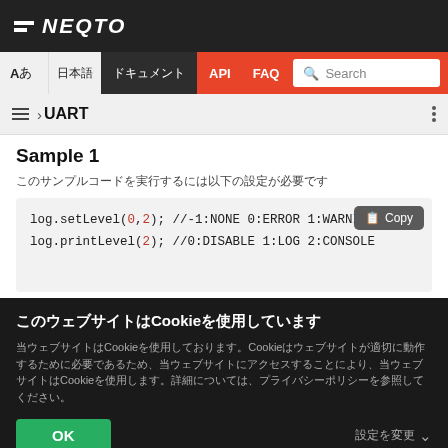NEQTO
Aあ 日本語 ドキュメント API FAQ Search
≡ › UART
Sample 1
このサンプルコードを実行するには以下の設定が必要です
[Figure (screenshot): Code block showing: log.setLevel(0,2); //-1:NONE 0:ERROR 1:WARNING and log.printLevel(2); //0:DISABLE 1:LOG 2:CONSOLE with a Copy button]
このウェブサイトはCookieを使用しています
当ウェブサイトはCookieを使用しております。Cookieはウェブサイトが適切に動作するために必要であるため、当ウェブサイトにアクセスすることにより、当ウェブサイトはCookieを使用します。詳細については、プライバシーポリシーを参照してください。